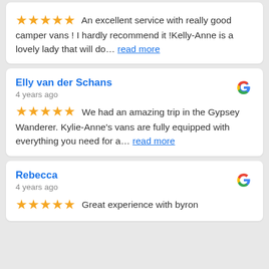★★★★★ An excellent service with really good camper vans ! I hardly recommend it !Kelly-Anne is a lovely lady that will do… read more
Elly van der Schans
4 years ago
★★★★★ We had an amazing trip in the Gypsey Wanderer. Kylie-Anne's vans are fully equipped with everything you need for a… read more
Rebecca
4 years ago
★★★★★ Great experience with byron